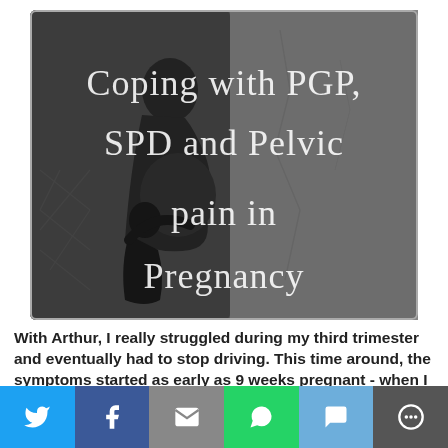[Figure (photo): Black and white photo of a pregnant woman in a black dress with a young child hugging her belly, overlaid with the title text 'Coping with PGP, SPD and Pelvic pain in Pregnancy' in a light serif font]
With Arthur, I really struggled during my third trimester and eventually had to stop driving. This time around, the symptoms started as early as 9 weeks pregnant - when I
[Figure (infographic): Social sharing bar with icons for Twitter (blue), Facebook (dark blue), Email (grey), WhatsApp (green), SMS (light blue), and More (dark grey)]